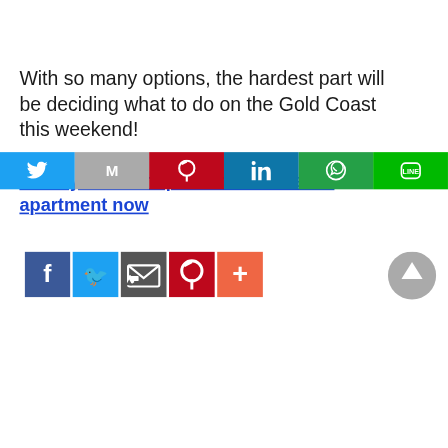With so many options, the hardest part will be deciding what to do on the Gold Coast this weekend!
Book your Southport or Broadbeach apartment now
[Figure (infographic): Social sharing icons row: Facebook (blue), Twitter (light blue), Email (dark gray), Pinterest (red), More/plus (orange-red), and a scroll-to-top gray circular button on the right.]
[Figure (infographic): Bottom social sharing bar with icons: Twitter (blue), Gmail/M (gray), Pinterest (red), LinkedIn (dark blue), WhatsApp (green), Line (bright green).]